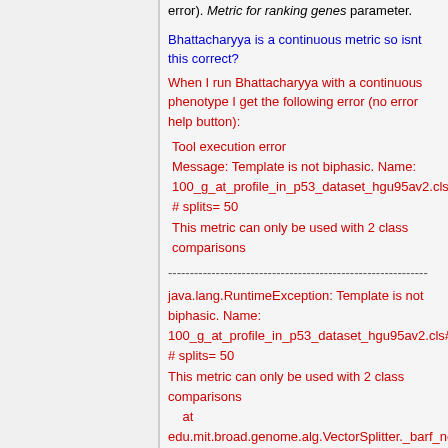error). Metric for ranking genes parameter.
Bhattacharyya is a continuous metric so isnt this correct?
When I run Bhattacharyya with a continuous phenotype I get the following error (no error help button):
Tool execution error
Message: Template is not biphasic. Name: 100_g_at_profile_in_p53_dataset_hgu95av2.cls#
# splits= 50
This metric can only be used with 2 class comparisons
------------------------------------------------------------
java.lang.RuntimeException: Template is not biphasic. Name: 100_g_at_profile_in_p53_dataset_hgu95av2.cls#
# splits= 50
This metric can only be used with 2 class comparisons
    at
edu.mit.broad.genome.alg.VectorSplitter._barf_notBiphasic